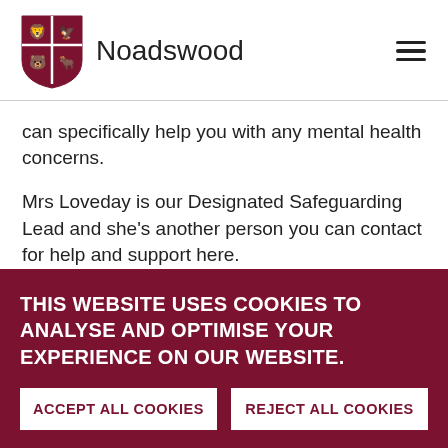Noadswood
can specifically help you with any mental health concerns.
Mrs Loveday is our Designated Safeguarding Lead and she's another person you can contact for help and support here.
THIS WEBSITE USES COOKIES TO ANALYSE AND OPTIMISE YOUR EXPERIENCE ON OUR WEBSITE.
ACCEPT ALL COOKIES
REJECT ALL COOKIES